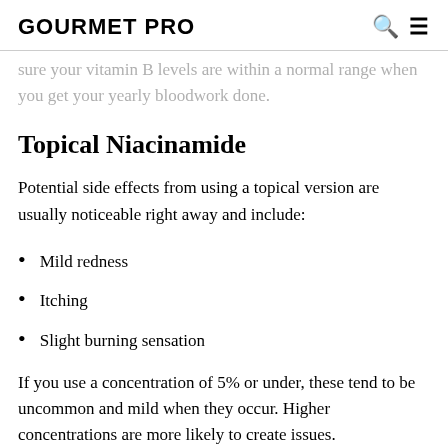GOURMET PRO
sure your vitamin B levels are within a normal range when you get your yearly bloodwork done.
Topical Niacinamide
Potential side effects from using a topical version are usually noticeable right away and include:
Mild redness
Itching
Slight burning sensation
If you use a concentration of 5% or under, these tend to be uncommon and mild when they occur. Higher concentrations are more likely to create issues.